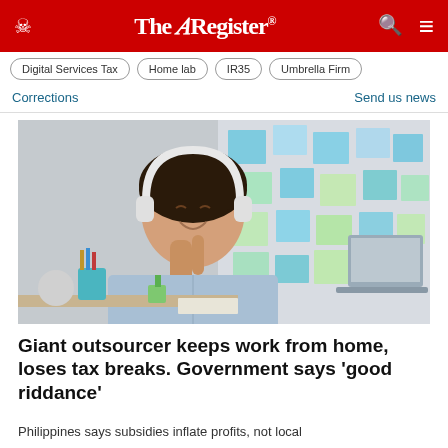The Register
Digital Services Tax
Home lab
IR35
Umbrella Firm
Corrections
Send us news
[Figure (photo): A young Asian woman wearing white headphones sitting at a desk, smiling, pointing upward, with colorful sticky notes on a wall behind her and a laptop to her right.]
Giant outsourcer keeps work from home, loses tax breaks. Government says 'good riddance'
Philippines says subsidies inflate profits, not local